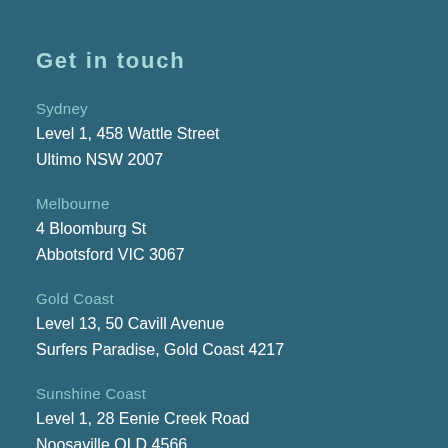Get in touch
Sydney
Level 1, 458 Wattle Street
Ultimo NSW 2007
Melbourne
4 Bloomburg St
Abbotsford VIC 3067
Gold Coast
Level 13, 50 Cavill Avenue
Surfers Paradise, Gold Coast 4217
Sunshine Coast
Level 1, 28 Eenie Creek Road
Noosaville QLD 4566